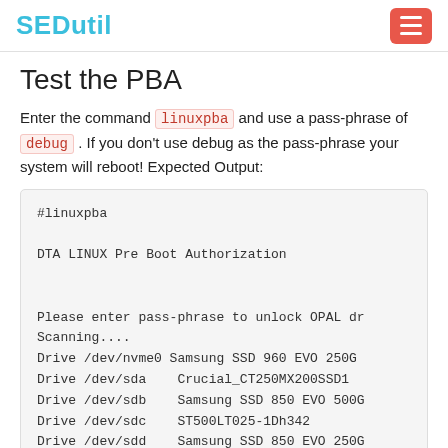SEDutil
Test the PBA
Enter the command linuxpba and use a pass-phrase of debug . If you don't use debug as the pass-phrase your system will reboot! Expected Output:
#linuxpba

DTA LINUX Pre Boot Authorization


Please enter pass-phrase to unlock OPAL dr
Scanning....
Drive /dev/nvme0 Samsung SSD 960 EVO 250G
Drive /dev/sda    Crucial_CT250MX200SSD1
Drive /dev/sdb    Samsung SSD 850 EVO 500G
Drive /dev/sdc    ST500LT025-1Dh342
Drive /dev/sdd    Samsung SSD 850 EVO 250G